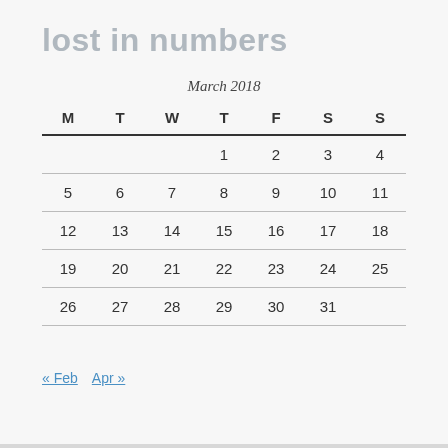lost in numbers
March 2018
| M | T | W | T | F | S | S |
| --- | --- | --- | --- | --- | --- | --- |
|  |  |  | 1 | 2 | 3 | 4 |
| 5 | 6 | 7 | 8 | 9 | 10 | 11 |
| 12 | 13 | 14 | 15 | 16 | 17 | 18 |
| 19 | 20 | 21 | 22 | 23 | 24 | 25 |
| 26 | 27 | 28 | 29 | 30 | 31 |  |
« Feb   Apr »